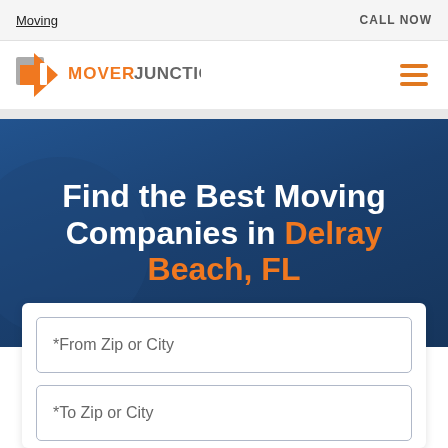Moving    CALL NOW
[Figure (logo): MoverJunction logo: gray and orange arrow icon with text MOVER JUNCTION in orange and gray]
Find the Best Moving Companies in Delray Beach, FL
*From Zip or City
*To Zip or City